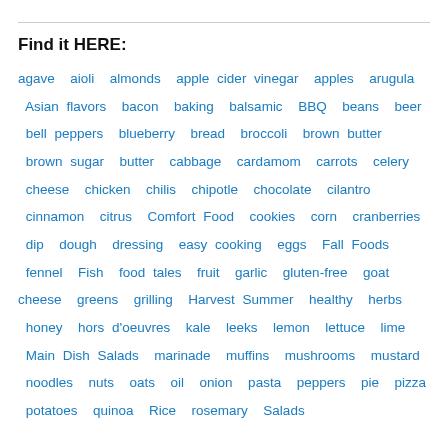Find it HERE:
agave  aioli  almonds  apple cider vinegar  apples  arugula  Asian flavors  bacon  baking  balsamic  BBQ  beans  beer  bell peppers  blueberry  bread  broccoli  brown butter  brown sugar  butter  cabbage  cardamom  carrots  celery  cheese  chicken  chilis  chipotle  chocolate  cilantro  cinnamon  citrus  Comfort Food  cookies  corn  cranberries  dip  dough  dressing  easy cooking  eggs  Fall Foods  fennel  Fish  food tales  fruit  garlic  gluten-free  goat cheese  greens  grilling  Harvest Summer  healthy  herbs  honey  hors d'oeuvres  kale  leeks  lemon  lettuce  lime  Main Dish Salads  marinade  muffins  mushrooms  mustard  noodles  nuts  oats  oil  onion  pasta  peppers  pie  pizza  potatoes  quinoa  Rice  rosemary  Salads